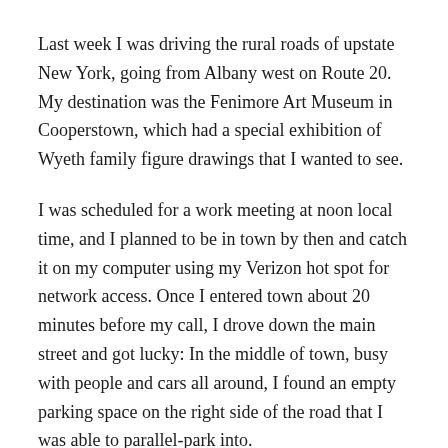Last week I was driving the rural roads of upstate New York, going from Albany west on Route 20. My destination was the Fenimore Art Museum in Cooperstown, which had a special exhibition of Wyeth family figure drawings that I wanted to see.
I was scheduled for a work meeting at noon local time, and I planned to be in town by then and catch it on my computer using my Verizon hot spot for network access. Once I entered town about 20 minutes before my call, I drove down the main street and got lucky: In the middle of town, busy with people and cars all around, I found an empty parking space on the right side of the road that I was able to parallel-park into.